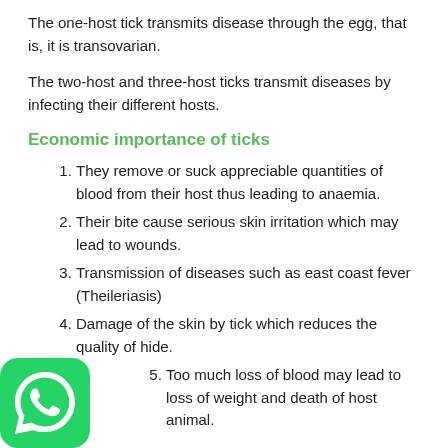The one-host tick transmits disease through the egg, that is, it is transovarian.
The two-host and three-host ticks transmit diseases by infecting their different hosts.
Economic importance of ticks
They remove or suck appreciable quantities of blood from their host thus leading to anaemia.
Their bite cause serious skin irritation which may lead to wounds.
Transmission of diseases such as east coast fever (Theileriasis)
Damage of the skin by tick which reduces the quality of hide.
Too much loss of blood may lead to loss of weight and death of host animal.